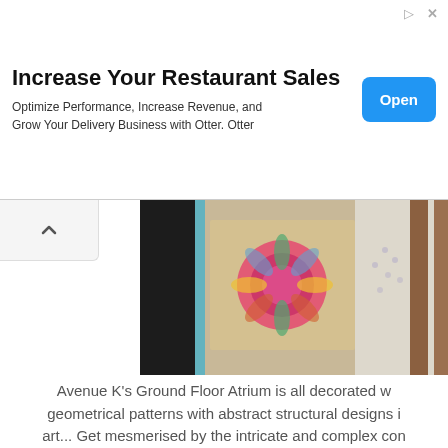[Figure (infographic): Advertisement banner: 'Increase Your Restaurant Sales' with subtitle 'Optimize Performance, Increase Revenue, and Grow Your Delivery Business with Otter. Otter' and a blue 'Open' button on the right.]
[Figure (photo): Partial view of decorative geometric patterned textiles/artworks in blue, pink, green on a beige background, with dark fabric on the left and wooden frame on the right.]
Avenue K's Ground Floor Atrium is all decorated with geometrical patterns with abstract structural designs in art... Get mesmerised by the intricate and complex con squares, and triangles in repetitive motifs and beau
Continue Checking It Out »
2 comments:
Jun 1, 2018